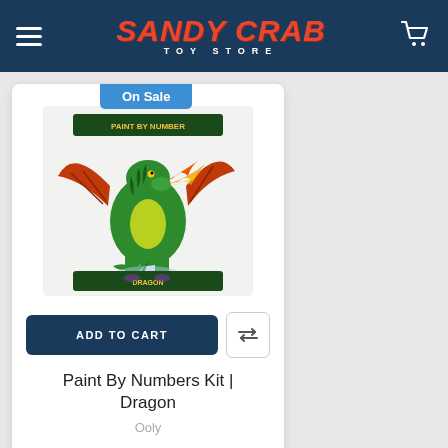Sandy Crab Toy Store
[Figure (screenshot): Sandy Crab Toy Store e-commerce product page showing a Paint By Numbers Kit Dragon on sale]
On Sale
[Figure (illustration): Paint By Numbers Kit Dragon product image showing a colorful green dragon with orange wings breathing fire]
ADD TO CART
Paint By Numbers Kit | Dragon
Ooly
Now: $20.00  Was: $39.99